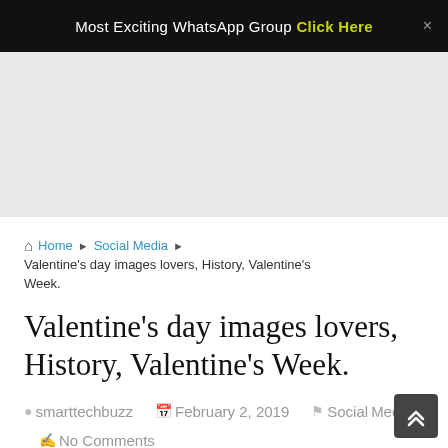Most Exciting WhatsApp Group  Click Here  ×
Home ▶ Social Media ▶ Valentine's day images lovers, History, Valentine's Week.
Valentine's day images lovers, History, Valentine's Week.
smarttechbuzz  February 2, 2019  Social Media  No Comments